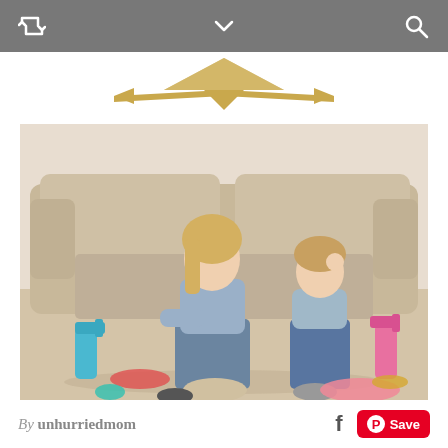Toolbar with retweet, chevron-down, and search icons
[Figure (illustration): Decorative gold/tan bowtie or arrow chevron logo graphic — two arrow shapes forming a symmetrical X/bowtie with horizontal arrows pointing outward]
[Figure (photo): A tired-looking blonde woman and a young girl sitting on a hardwood floor in front of a beige couch, surrounded by cleaning supplies including blue and pink spray bottles, rubber gloves, and a pink duster. Both are in casual denim clothing.]
By unhurriedmom   [Facebook icon]  [Pinterest Save button]